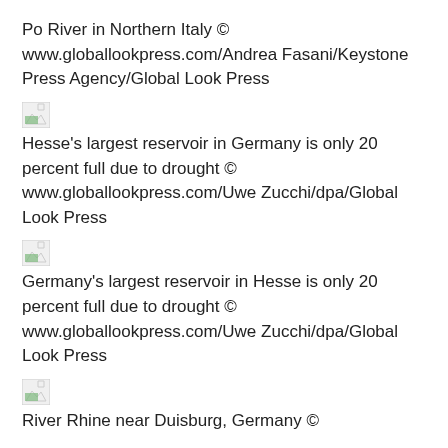Po River in Northern Italy © www.globallookpress.com/Andrea Fasani/Keystone Press Agency/Global Look Press
[Figure (photo): Broken image placeholder thumbnail]
Hesse's largest reservoir in Germany is only 20 percent full due to drought © www.globallookpress.com/Uwe Zucchi/dpa/Global Look Press
[Figure (photo): Broken image placeholder thumbnail]
Germany's largest reservoir in Hesse is only 20 percent full due to drought © www.globallookpress.com/Uwe Zucchi/dpa/Global Look Press
[Figure (photo): Broken image placeholder thumbnail]
River Rhine near Duisburg, Germany ©